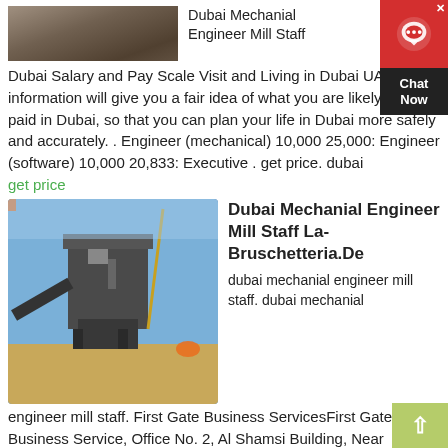[Figure (photo): Top image showing crushed stone or gravel material, dark earthy tones]
Dubai Mechanial Engineer Mill Staff
Dubai Salary and Pay Scale Visit and Living in Dubai UAE. This information will give you a fair idea of what you are likely to be paid in Dubai, so that you can plan your life in Dubai more safely and accurately. . Engineer (mechanical) 10,000 25,000: Engineer (software) 10,000 20,833: Executive . get price. dubai
get price
[Figure (photo): Construction site with heavy industrial machinery including crushers and conveyor belts, blue sky background]
Dubai Mechanial Engineer Mill Staff La-Bruschetteria.De
dubai mechanial engineer mill staff. dubai mechanial engineer mill staff.
First Gate Business ServicesFirst Gate Business Service, Office No. 2, Al Shamsi Building, Near Zulekha Hospital, Opp. Al Madeena Supermarket, AL NAHDA-2, Ousais, Dubai, United Arab Emirates Tel.+ 1302, 04-358 6215.